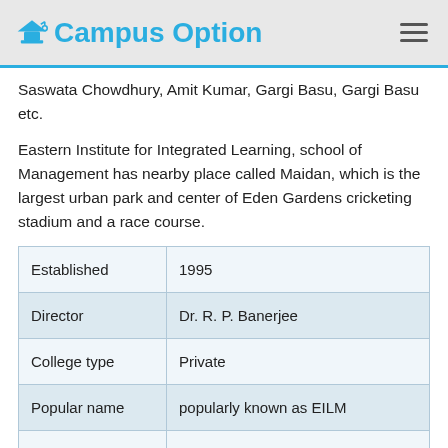Campus Option
Saswata Chowdhury, Amit Kumar, Gargi Basu, Gargi Basu etc.
Eastern Institute for Integrated Learning, school of Management has nearby place called Maidan, which is the largest urban park and center of Eden Gardens cricketing stadium and a race course.
| Established | 1995 |
| Director | Dr. R. P. Banerjee |
| College type | Private |
| Popular name | popularly known as EILM |